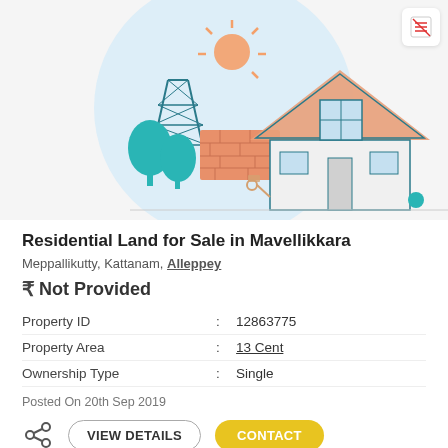[Figure (illustration): Illustrated real estate scene with a house, trees, brick wall, construction tower, and sun on a light blue circular background]
Residential Land for Sale in Mavellikkara
Meppallikutty, Kattanam, Alleppey
₹ Not Provided
| Property ID | : | 12863775 |
| Property Area | : | 13 Cent |
| Ownership Type | : | Single |
Posted On 20th Sep 2019
VIEW DETAILS   CONTACT